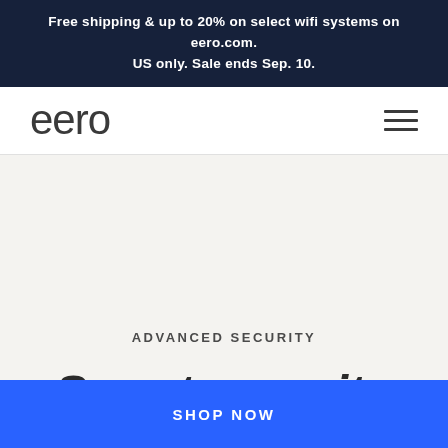Free shipping & up to 20% on select wifi systems on eero.com. US only. Sale ends Sep. 10.
[Figure (logo): eero logo in dark gray sans-serif font]
ADVANCED SECURITY
Smart security
SHOP NOW